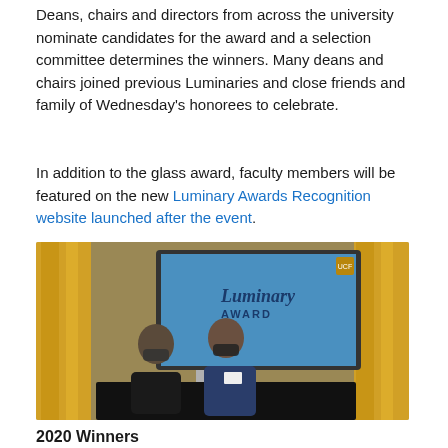Deans, chairs and directors from across the university nominate candidates for the award and a selection committee determines the winners. Many deans and chairs joined previous Luminaries and close friends and family of Wednesday's honorees to celebrate.
In addition to the glass award, faculty members will be featured on the new Luminary Awards Recognition website launched after the event.
[Figure (photo): Two people wearing face masks standing in front of a large screen displaying 'Luminary Awards' logo, with gold/yellow drape curtains in the background. A black-draped table is in front of them.]
2020 Winners